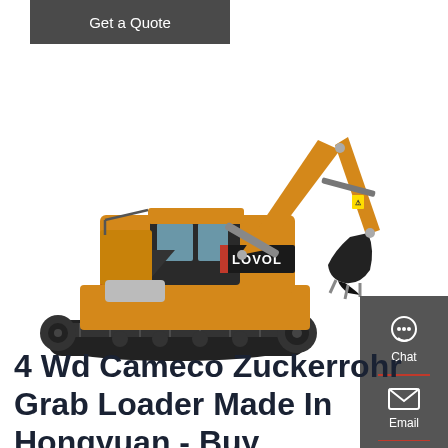Get a Quote
[Figure (photo): Yellow LOVOL crawler excavator on white background, side view with boom extended to the right]
4 Wd Cameco Zuckerrohr Grab Loader Made In Hongyuan - Buy
Chat
Email
Contact